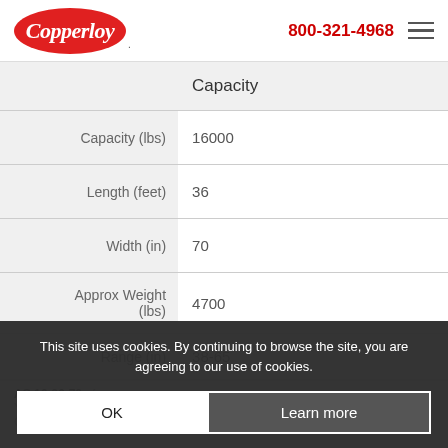Copperloy | 800-321-4968
|  | Capacity |
| --- | --- |
| Capacity (lbs) | 16000 |
| Length (feet) | 36 |
| Width (in) | 70 |
| Approx Weight (lbs) | 4700 |
| Range (in) | 38-65 |
AS 16-36-70 of
Yard Ramp with 16,000lb Capacity
This site uses cookies. By continuing to browse the site, you are agreeing to our use of cookies.